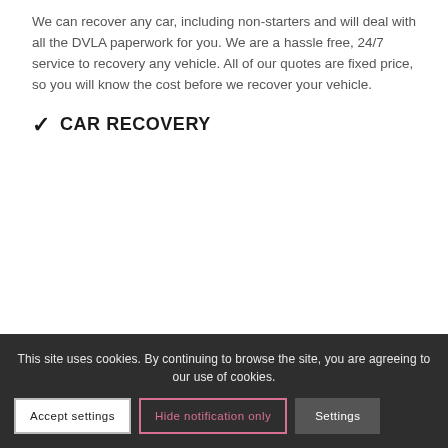We can recover any car, including non-starters and will deal with all the DVLA paperwork for you. We are a hassle free, 24/7 service to recovery any vehicle. All of our quotes are fixed price, so you will know the cost before we recover your vehicle.
✔  CAR RECOVERY
This site uses cookies. By continuing to browse the site, you are agreeing to our use of cookies.